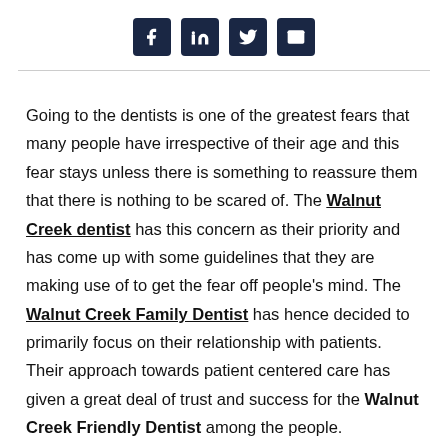[Social share icons: Facebook, LinkedIn, Twitter, Email]
Going to the dentists is one of the greatest fears that many people have irrespective of their age and this fear stays unless there is something to reassure them that there is nothing to be scared of. The Walnut Creek dentist has this concern as their priority and has come up with some guidelines that they are making use of to get the fear off people's mind. The Walnut Creek Family Dentist has hence decided to primarily focus on their relationship with patients. Their approach towards patient centered care has given a great deal of trust and success for the Walnut Creek Friendly Dentist among the people.